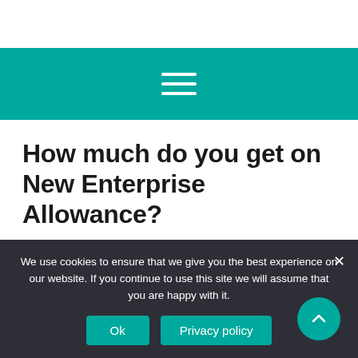How much do you get on New Enterprise Allowance?
How much do you get on New Enterprise Allowance?
We use cookies to ensure that we give you the best experience on our website. If you continue to use this site we will assume that you are happy with it.